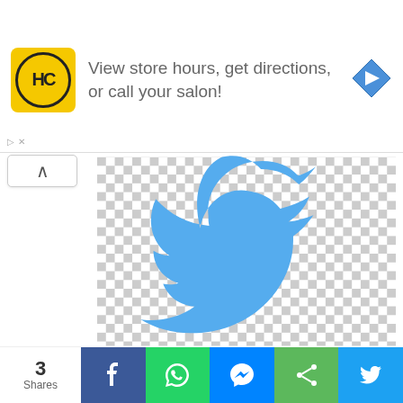[Figure (advertisement): Ad banner for a hair salon (HC logo) with text 'View store hours, get directions, or call your salon!' and a blue navigation arrow icon on the right.]
[Figure (logo): Twitter bird logo in blue on a transparent (checkerboard) background.]
Japan’s tax agency launches contest to promote alcohol to young people
[Figure (other): Gray gradient placeholder rectangle (ad or image placeholder).]
3 Shares
[Figure (infographic): Social sharing bar with Facebook, WhatsApp, Messenger, generic Share, and Twitter buttons.]